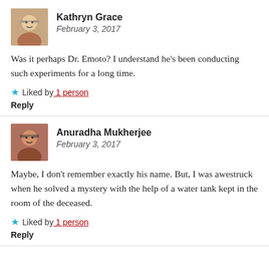[Figure (photo): Avatar photo of Kathryn Grace, a woman with glasses and grey hair]
Kathryn Grace
February 3, 2017
Was it perhaps Dr. Emoto? I understand he's been conducting such experiments for a long time.
★ Liked by 1 person
Reply
[Figure (photo): Avatar photo of Anuradha Mukherjee, a woman with glasses]
Anuradha Mukherjee
February 3, 2017
Maybe, I don't remember exactly his name. But, I was awestruck when he solved a mystery with the help of a water tank kept in the room of the deceased.
★ Liked by 1 person
Reply